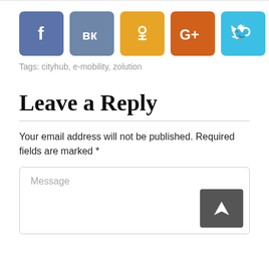[Figure (infographic): Row of 5 social media share icons: Facebook (blue), VK (steel blue), Odnoklassniki (yellow), Google+ (orange), Twitter (cyan)]
Tags: cityhub, e-mobility, zolution
Leave a Reply
Your email address will not be published. Required fields are marked *
Message